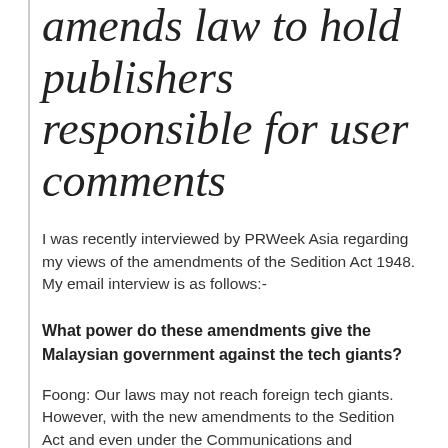amends law to hold publishers responsible for user comments
I was recently interviewed by PRWeek Asia regarding my views of the amendments of the Sedition Act 1948. My email interview is as follows:-
What power do these amendments give the Malaysian government against the tech giants?
Foong: Our laws may not reach foreign tech giants. However, with the new amendments to the Sedition Act and even under the Communications and Multimedia Act 1998, it is possible